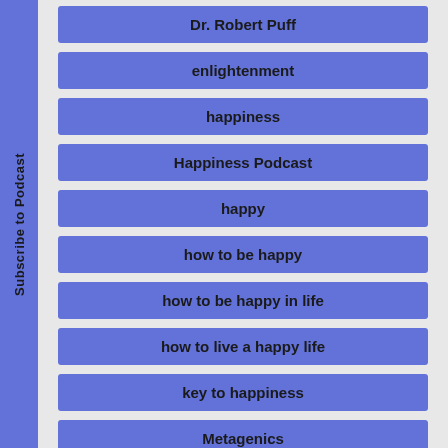Dr. Robert Puff
enlightenment
happiness
Happiness Podcast
happy
how to be happy
how to be happy in life
how to live a happy life
key to happiness
Metagenics
Subscribe to Podcast